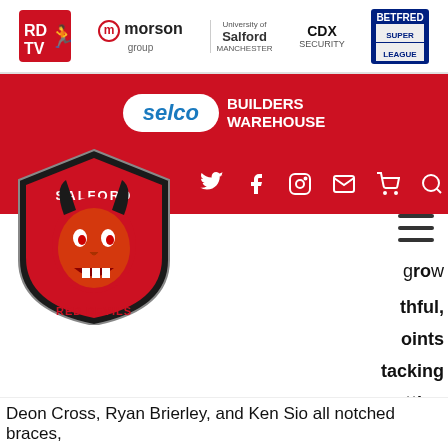[Figure (screenshot): Sponsor logos bar: RD TV, Morson Group, University of Salford Manchester, CDX Security, Betfred Super League]
[Figure (logo): Selco Builders Warehouse logo on red background]
[Figure (logo): Salford Red Devils club badge/logo]
[Figure (infographic): Social media navigation icons: Twitter, Facebook, Instagram, Email, Cart, Search on red bar]
This website uses cookies to ensure you get the best experience on our website.
Learn more
Decline
Accept
Deon Cross, Ryan Brierley, and Ken Sio all notched braces,